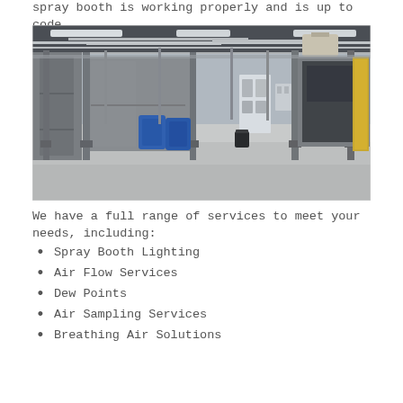spray booth is working properly and is up to code.
[Figure (photo): Interior of an industrial spray booth facility showing metal frame structures, piping on ceiling, spray booth enclosures, and blue equipment on concrete floor.]
We have a full range of services to meet your needs, including:
Spray Booth Lighting
Air Flow Services
Dew Points
Air Sampling Services
Breathing Air Solutions